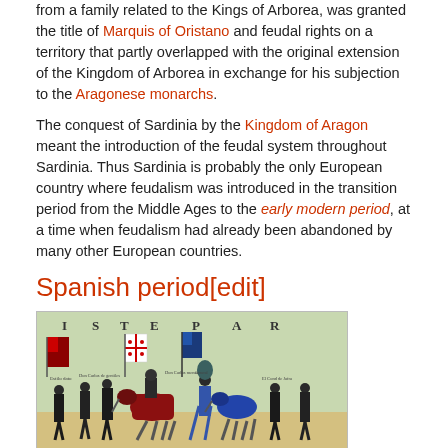from a family related to the Kings of Arborea, was granted the title of Marquis of Oristano and feudal rights on a territory that partly overlapped with the original extension of the Kingdom of Arborea in exchange for his subjection to the Aragonese monarchs.
The conquest of Sardinia by the Kingdom of Aragon meant the introduction of the feudal system throughout Sardinia. Thus Sardinia is probably the only European country where feudalism was introduced in the transition period from the Middle Ages to the early modern period, at a time when feudalism had already been abandoned by many other European countries.
Spanish period[edit]
[Figure (illustration): Medieval procession illustration showing figures in dark robes, a horse with decorations, flags including what appears to be a Sardinian cross flag, text at top reading 'I S T E P A R', various labeled figures on a light background]
Flag of the Kingdom of Sardinia (center) at the funeral of Charles I of Spain